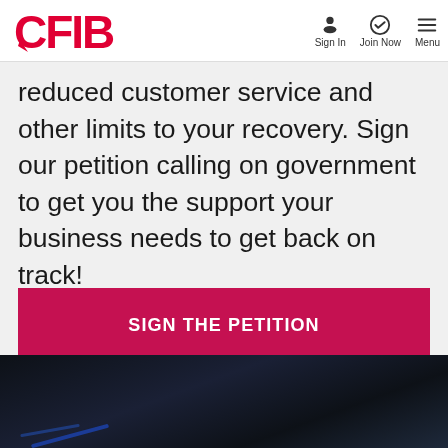CFIB | Sign In | Join Now | Menu
reduced customer service and other limits to your recovery. Sign our petition calling on government to get you the support your business needs to get back on track!
[Figure (other): SIGN THE PETITION button — large crimson/red call-to-action button with white bold uppercase text]
[Figure (photo): Dark background photo, partially visible — appears to show a person or worker in low light]